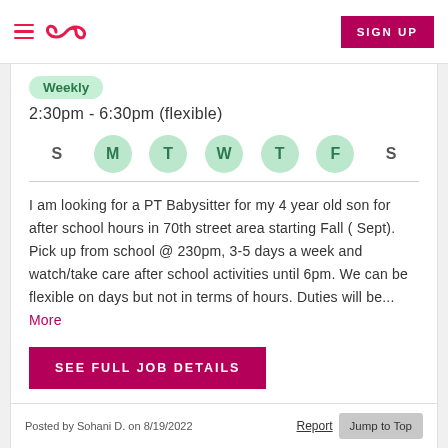Navigation bar with hamburger menu, Care.com logo, and SIGN UP button
Weekly
2:30pm - 6:30pm (flexible)
S M T W T F S (days of week, M T W T F highlighted)
I am looking for a PT Babysitter for my 4 year old son for after school hours in 70th street area starting Fall ( Sept). Pick up from school @ 230pm, 3-5 days a week and watch/take care after school activities until 6pm. We can be flexible on days but not in terms of hours. Duties will be... More
SEE FULL JOB DETAILS
Posted by Sohani D. on 8/19/2022   Report   Jump to Top